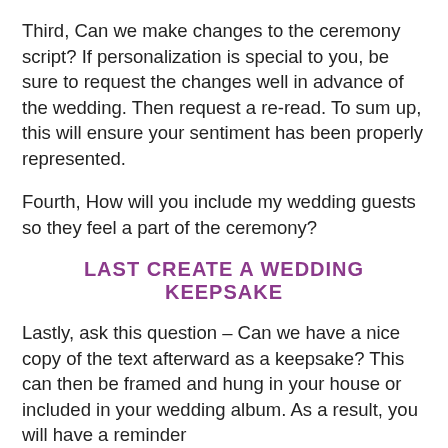Third, Can we make changes to the ceremony script? If personalization is special to you, be sure to request the changes well in advance of the wedding. Then request a re-read. To sum up, this will ensure your sentiment has been properly represented.
Fourth, How will you include my wedding guests so they feel a part of the ceremony?
LAST CREATE A WEDDING KEEPSAKE
Lastly, ask this question – Can we have a nice copy of the text afterward as a keepsake? This can then be framed and hung in your house or included in your wedding album. As a result, you will have a reminder